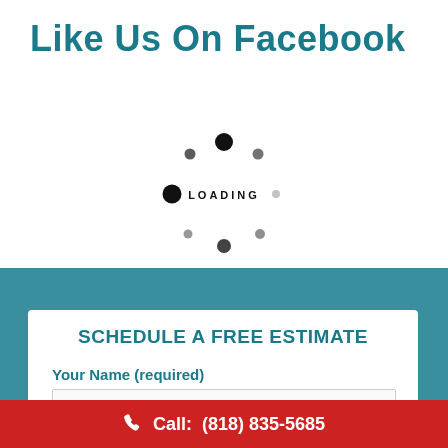Like Us On Facebook
[Figure (other): Loading spinner graphic with dots arranged in a circle and the text LOADING in the center]
SCHEDULE A FREE ESTIMATE
Your Name (required)
Call:  (818) 835-5685